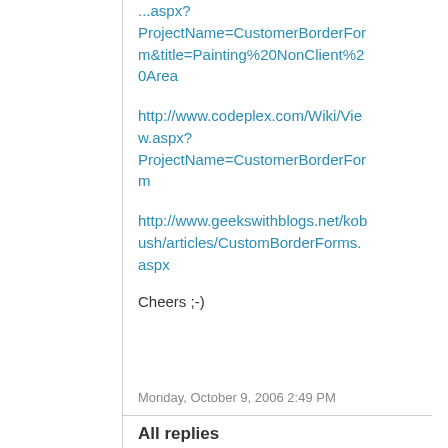...aspx?ProjectName=CustomerBorderForm&title=Painting%20NonClient%20Area
http://www.codeplex.com/Wiki/View.aspx?ProjectName=CustomerBorderForm
http://www.geekswithblogs.net/kobush/articles/CustomBorderForms.aspx
Cheers ;-)
Monday, October 9, 2006 2:49 PM
All replies